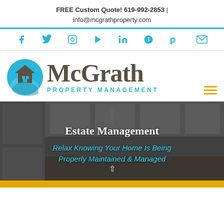FREE Custom Quote! 619-992-2853 | info@mcgrathproperty.com
[Figure (other): Social media icons bar: Facebook, Twitter, Instagram, YouTube, LinkedIn, Pinterest, Yelp, Email]
[Figure (logo): McGrath Property Management logo with house/swoosh icon in blue and brown, text McGrath in brown serif font, PROPERTY MANAGEMENT in cyan]
Estate Management
Relax Knowing Your Home Is Being Properly Maintained & Managed